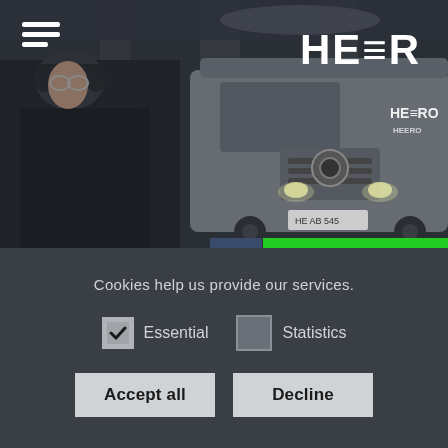[Figure (photo): Hero image showing a delivery van with HEERO branding in a dimly lit parking structure, alongside a person in dark clothing on the left side.]
HEERO
Cookies help us provide our services.
Essential (checked checkbox)
Statistics (unchecked checkbox)
Accept all
Decline